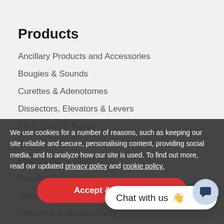Products
Ancillary Products and Accessories
Bougies & Sounds
Curettes & Adenotomes
Dissectors, Elevators & Levers
Files, Saws & Rasps
Forceps
Haemostats & Clamps
Hospital Receptacles
Impactors
Indicators & Measurement
Knives, Needles & Picks
Lightening & Visualization
Manipulators
Needle Holders & Passers
Osteotomes, Chisels
Pliers & Wire Cutters
Probes & Dilators
We use cookies for a number of reasons, such as keeping our site reliable and secure, personalising content, providing social media, and to analyze how our site is used. To find out more, read our updated privacy policy and cookie policy.
Accept & Continue